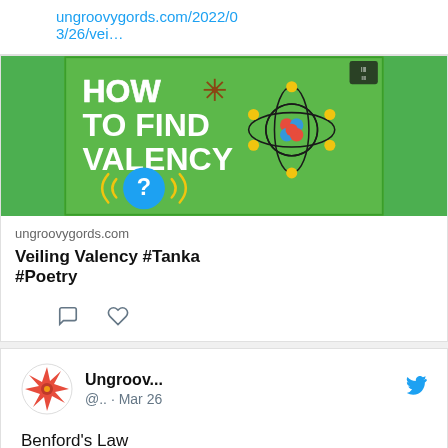ungroovygords.com/2022/03/26/vei…
[Figure (illustration): Green educational graphic titled 'HOW TO FIND VALENCY' showing an atom diagram with orbiting electrons, a nucleus of red and blue spheres, yellow dots, and a question mark circle at the bottom left with sound wave symbols]
ungroovygords.com
Veiling Valency #Tanka #Poetry
[Figure (other): Comment and heart (like) action icons]
Ungroov... @.. · Mar 26
Benford's Law
#Tanka #Poetry ungroovygords.com/2022/03/26/ben…